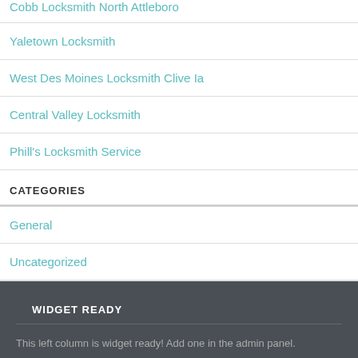Cobb Locksmith North Attleboro
Yaletown Locksmith
West Des Moines Locksmith Clive Ia
Central Valley Locksmith
Phill's Locksmith Service
CATEGORIES
General
Uncategorized
WIDGET READY
This left column is widget ready! Add one in the admin panel.